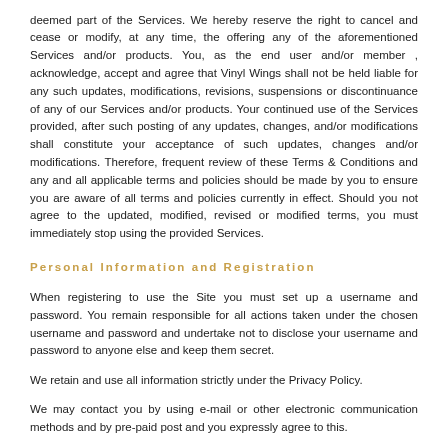deemed part of the Services. We hereby reserve the right to cancel and cease or modify, at any time, the offering any of the aforementioned Services and/or products. You, as the end user and/or member , acknowledge, accept and agree that Vinyl Wings shall not be held liable for any such updates, modifications, revisions, suspensions or discontinuance of any of our Services and/or products. Your continued use of the Services provided, after such posting of any updates, changes, and/or modifications shall constitute your acceptance of such updates, changes and/or modifications. Therefore, frequent review of these Terms & Conditions and any and all applicable terms and policies should be made by you to ensure you are aware of all terms and policies currently in effect. Should you not agree to the updated, modified, revised or modified terms, you must immediately stop using the provided Services.
Personal Information and Registration
When registering to use the Site you must set up a username and password. You remain responsible for all actions taken under the chosen username and password and undertake not to disclose your username and password to anyone else and keep them secret.
We retain and use all information strictly under the Privacy Policy.
We may contact you by using e-mail or other electronic communication methods and by pre-paid post and you expressly agree to this.
As the registering party, you hereby acknowledge, understand and agree to: furnish factual, correct, current and complete information with regards to